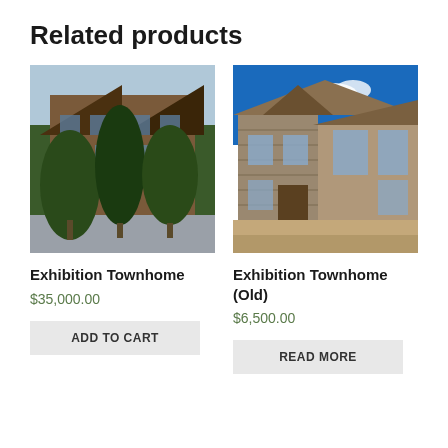Related products
[Figure (photo): Exterior photo of a multi-story wooden townhome surrounded by tall evergreen trees, with a street visible in the foreground.]
[Figure (photo): Exterior photo of a stone and wood craftsman-style townhome with a covered entry and blue sky in the background.]
Exhibition Townhome
$35,000.00
Exhibition Townhome (Old)
$6,500.00
ADD TO CART
READ MORE